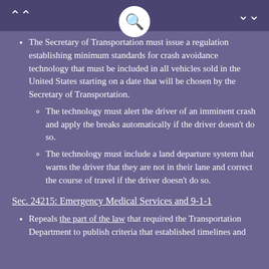The Secretary of Transportation must issue a regulation establishing minimum standards for crash avoidance technology that must be included in all vehicles sold in the United States starting on a date that will be chosen by the Secretary of Transportation.
The technology must alert the driver of an imminent crash and apply the breaks automatically if the driver doesn't do so.
The technology must include a land departure system that warns the driver that they are not in their lane and correct the course of travel if the driver doesn't do so.
Sec. 24215: Emergency Medical Services and 9-1-1
Repeals the part of the law that required the Transportation Department to publish criteria that established timelines and